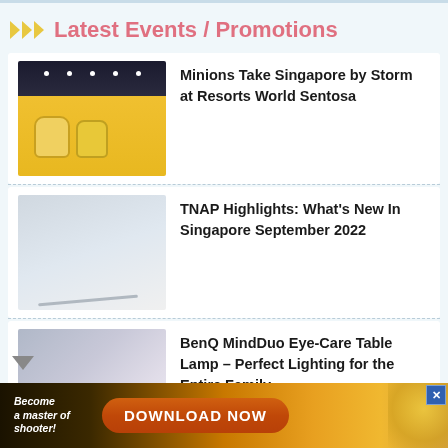Latest Events / Promotions
[Figure (photo): Minions exhibition room with yellow walls and minion characters at Resorts World Sentosa]
Minions Take Singapore by Storm at Resorts World Sentosa
[Figure (photo): White desk lamp on a light grey background with small decorative items]
TNAP Highlights: What's New In Singapore September 2022
[Figure (photo): BenQ lamp on bedside table with mother and child reading in bed]
BenQ MindDuo Eye-Care Table Lamp – Perfect Lighting for the Entire Family
[Figure (screenshot): Advertisement banner: Become a master of shooter! DOWNLOAD NOW button with golden background]